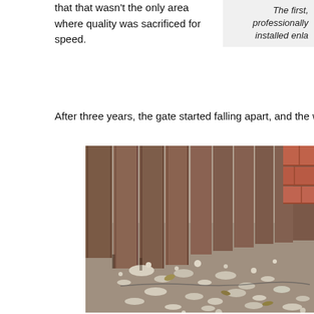that that wasn't the only area where quality was sacrificed for speed.
The first, professionally installed enla
After three years, the gate started falling apart, and the warranty was
[Figure (photo): Close-up photo of the base of a wooden fence/gate showing deterioration, crumbling concrete or material debris scattered on the ground around the fence posts, with a brick visible in the upper right corner.]